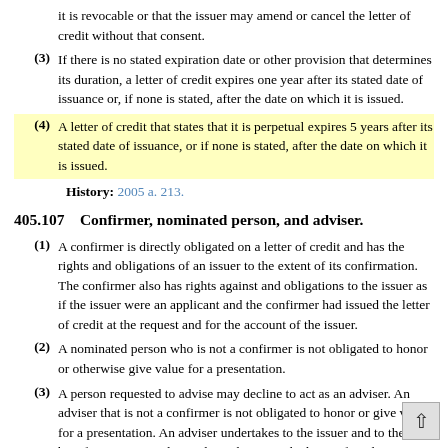it is revocable or that the issuer may amend or cancel the letter of credit without that consent.
(3) If there is no stated expiration date or other provision that determines its duration, a letter of credit expires one year after its stated date of issuance or, if none is stated, after the date on which it is issued.
(4) A letter of credit that states that it is perpetual expires 5 years after its stated date of issuance, or if none is stated, after the date on which it is issued.
History: 2005 a. 213.
405.107    Confirmer, nominated person, and adviser.
(1) A confirmer is directly obligated on a letter of credit and has the rights and obligations of an issuer to the extent of its confirmation. The confirmer also has rights against and obligations to the issuer as if the issuer were an applicant and the confirmer had issued the letter of credit at the request and for the account of the issuer.
(2) A nominated person who is not a confirmer is not obligated to honor or otherwise give value for a presentation.
(3) A person requested to advise may decline to act as an adviser. An adviser that is not a confirmer is not obligated to honor or give value for a presentation. An adviser undertakes to the issuer and to the beneficiary accurately to advise the terms the letter of credit, confirmation, amendment, or advice